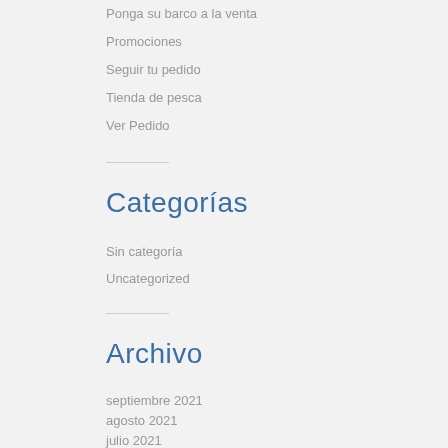Ponga su barco a la venta
Promociones
Seguir tu pedido
Tienda de pesca
Ver Pedido
Categorías
Sin categoría
Uncategorized
Archivo
septiembre 2021
agosto 2021
julio 2021
junio 2021
mayo 2021